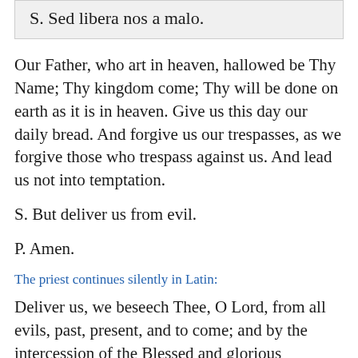S. Sed libera nos a malo.
Our Father, who art in heaven, hallowed be Thy Name; Thy kingdom come; Thy will be done on earth as it is in heaven. Give us this day our daily bread. And forgive us our trespasses, as we forgive those who trespass against us. And lead us not into temptation.
S. But deliver us from evil.
P. Amen.
The priest continues silently in Latin:
Deliver us, we beseech Thee, O Lord, from all evils, past, present, and to come; and by the intercession of the Blessed and glorious